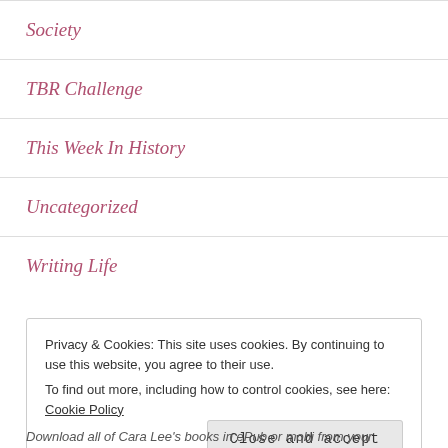Society
TBR Challenge
This Week In History
Uncategorized
Writing Life
Privacy & Cookies: This site uses cookies. By continuing to use this website, you agree to their use.
To find out more, including how to control cookies, see here: Cookie Policy
Close and accept
Download all of Cara Lee's books in ePub or mobi from your